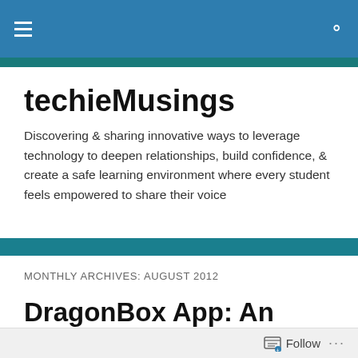techieMusings — navigation bar with hamburger menu and search icon
techieMusings
Discovering & sharing innovative ways to leverage technology to deepen relationships, build confidence, & create a safe learning environment where every student feels empowered to share their voice
MONTHLY ARCHIVES: AUGUST 2012
DragonBox App: An Algebra Game – No Math Skills Needed #mathchat #edchat @WiredGeekDad
Follow